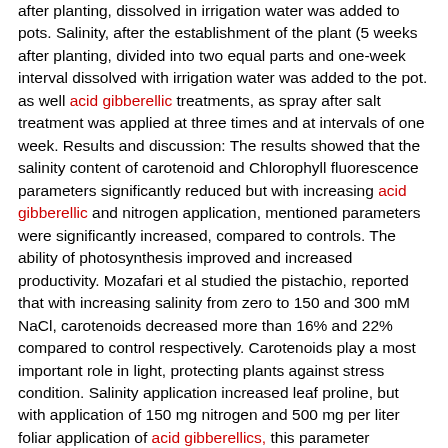after planting, dissolved in irrigation water was added to pots. Salinity, after the establishment of the plant (5 weeks after planting, divided into two equal parts and one-week interval dissolved with irrigation water was added to the pot. as well acid gibberellic treatments, as spray after salt treatment was applied at three times and at intervals of one week. Results and discussion: The results showed that the salinity content of carotenoid and Chlorophyll fluorescence parameters significantly reduced but with increasing acid gibberellic and nitrogen application, mentioned parameters were significantly increased, compared to controls. The ability of photosynthesis improved and increased productivity. Mozafari et al studied the pistachio, reported that with increasing salinity from zero to 150 and 300 mM NaCl, carotenoids decreased more than 16% and 22% compared to control respectively. Carotenoids play a most important role in light, protecting plants against stress condition. Salinity application increased leaf proline, but with application of 150 mg nitrogen and 500 mg per liter foliar application of acid gibberellics, this parameter increased by 55 and 26 percent, respectively. Also, combined use of these two treatments increased proline content by 79 percent compared to control. The researchers stated that the increasing gibberellin concentration caused leaf proline increased, so spraying 100